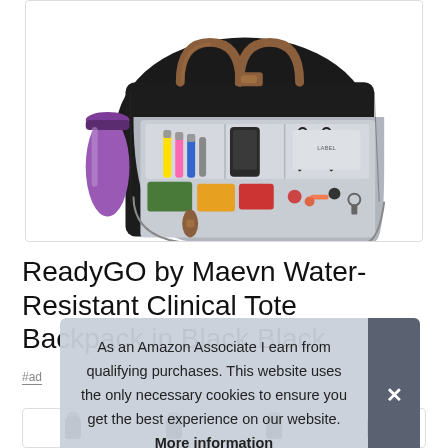[Figure (photo): A black water-resistant clinical tote backpack (ReadyGO by Maevn) shown open, revealing gray interior organizer with markers, scissors, phone, and other medical supplies. A purple tumbler is in the side pocket. The bag has brown leather handles.]
ReadyGO by Maevn Water-Resistant Clinical Tote Backpack in Black Black
#ad
As an Amazon Associate I earn from qualifying purchases. This website uses the only necessary cookies to ensure you get the best experience on our website. More information
[Figure (photo): Partial view of thumbnail images at the bottom of the page showing multiple angles of the bag.]